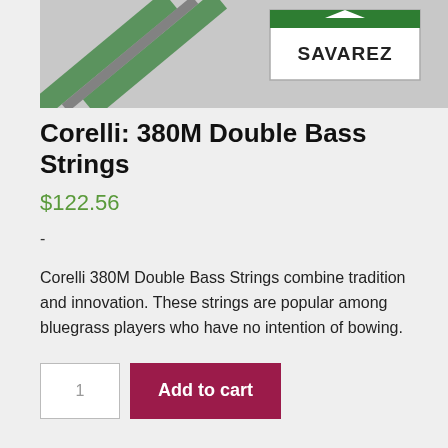[Figure (photo): Product image of Savarez branded double bass strings packaging, showing the SAVAREZ logo on white background with green and gray stripes]
Corelli: 380M Double Bass Strings
$122.56
-
Corelli 380M Double Bass Strings combine tradition and innovation. These strings are popular among bluegrass players who have no intention of bowing.
Categories: Bass Strings - Other, Corelli Double Bass Strings, See All Double Bass Strings, Bluegrass and